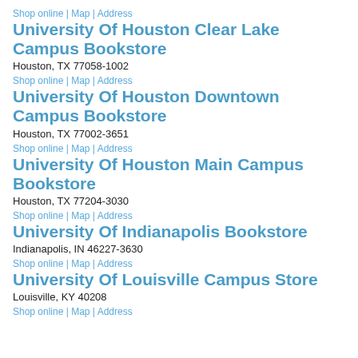Shop online | Map | Address
University Of Houston Clear Lake Campus Bookstore
Houston, TX 77058-1002
Shop online | Map | Address
University Of Houston Downtown Campus Bookstore
Houston, TX 77002-3651
Shop online | Map | Address
University Of Houston Main Campus Bookstore
Houston, TX 77204-3030
Shop online | Map | Address
University Of Indianapolis Bookstore
Indianapolis, IN 46227-3630
Shop online | Map | Address
University Of Louisville Campus Store
Louisville, KY 40208
Shop online | Map | Address